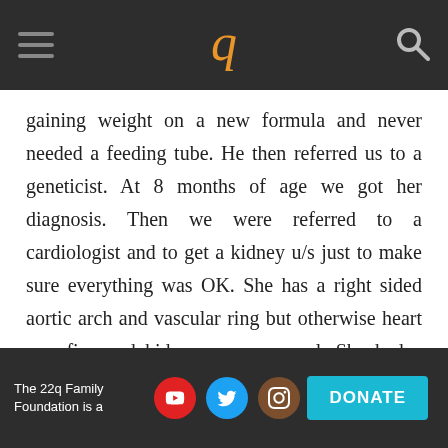22q Family Foundation
gaining weight on a new formula and never needed a feeding tube. He then referred us to a geneticist. At 8 months of age we got her diagnosis. Then we were referred to a cardiologist and to get a kidney u/s just to make sure everything was OK. She has a right sided aortic arch and vascular ring but otherwise heart was fine and kidneys were normal. She had a chronic cough for about a year that was diagnosed as allergies, croup, virus, asthma, etc. but turned out to be because of the vascular ring constricting her airway so she had surgery in March for that and the cough is gone. She sat up at 9 months, crawled at 11
The 22q Family Foundation is a